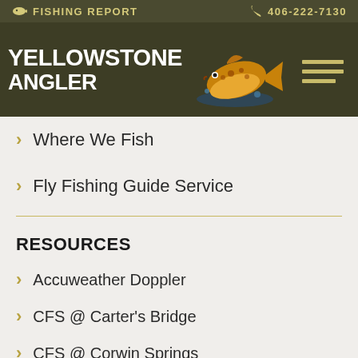🐟 FISHING REPORT  📞 406-222-7130
[Figure (logo): Yellowstone Angler logo with brown trout fish illustration and text]
Where We Fish
Fly Fishing Guide Service
RESOURCES
Accuweather Doppler
CFS @ Carter's Bridge
CFS @ Corwin Springs
CFS Gardiner River
CFS Lamar River
CFS Shields River